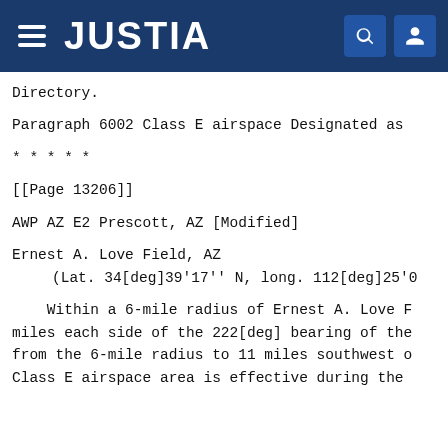JUSTIA
Directory.
Paragraph 6002 Class E airspace Designated as
* * * * *
[[Page 13206]]
AWP AZ E2 Prescott, AZ [Modified]
Ernest A. Love Field, AZ
    (Lat. 34[deg]39'17'' N, long. 112[deg]25'0
Within a 6-mile radius of Ernest A. Love F miles each side of the 222[deg] bearing of the from the 6-mile radius to 11 miles southwest o Class E airspace area is effective during the